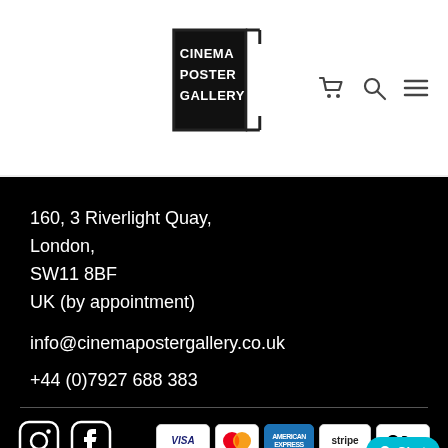[Figure (logo): Cinema Poster Gallery logo — black box with white bold text reading CINEMA POSTER GALLERY, with a decorative corner bracket]
[Figure (infographic): Navigation icons: shopping cart, search magnifier, and hamburger menu in dark grey]
160, 3 Riverlight Quay,
London,
SW11 8BF
UK (by appointment)
info@cinemapostergallery.co.uk
+44 (0)7927 688 383
[Figure (infographic): Instagram and Facebook social media icons in white outline style on black background]
[Figure (infographic): Payment method badges: VISA, Mastercard, American Express, Stripe, Apple Pay]
[Figure (infographic): Teal chat button with white circle dot and Chat label]